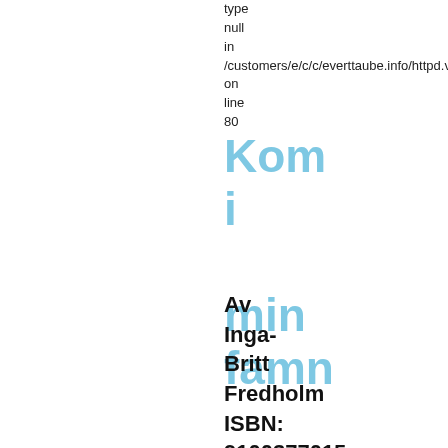type
null
in
/customers/e/c/c/everttaube.info/httpd.w
on
line
80
Kom i min famn
Av Inga-Britt Fredholm ISBN: 9100377015 utgiven: 1972